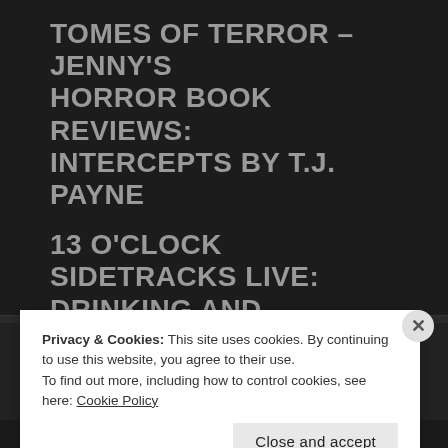TOMES OF TERROR – JENNY'S HORROR BOOK REVIEWS: INTERCEPTS BY T.J. PAYNE
13 O'CLOCK SIDETRACKS LIVE: DRINKING AND CLUBBING EDITION
[Figure (screenshot): Search bar with placeholder text 'SEARCH ...' and a search icon on the right]
Privacy & Cookies: This site uses cookies. By continuing to use this website, you agree to their use.
To find out more, including how to control cookies, see here: Cookie Policy
Close and accept